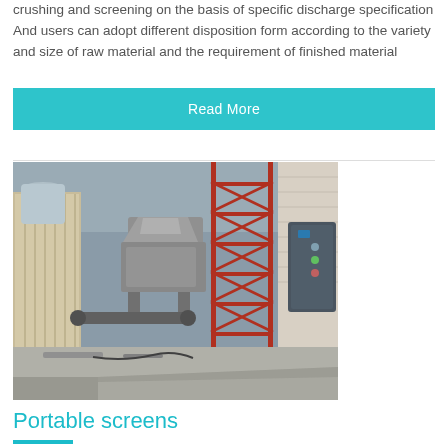crushing and screening on the basis of specific discharge specification And users can adopt different disposition form according to the variety and size of raw material and the requirement of finished material
Read More
[Figure (photo): Industrial facility interior showing crushing/screening equipment — a metal machine with hopper, conveyor components on a concrete floor, with a red scaffolding tower, control cabinet, and beige industrial enclosures visible in the background.]
Portable screens